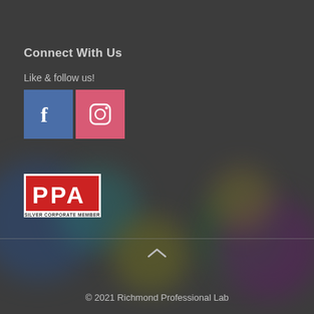Connect With Us
Like & follow us!
[Figure (illustration): Facebook icon (blue square with white 'f') and Instagram icon (pink/red square with camera outline)]
[Figure (logo): PPA Silver Corporate Member logo — red rectangle with white bold letters P, P, A and 'SILVER CORPORATE MEMBER' text below]
[Figure (illustration): Colorful bokeh circles decoration in background — blue, teal, olive, green, purple circles]
© 2021 Richmond Professional Lab